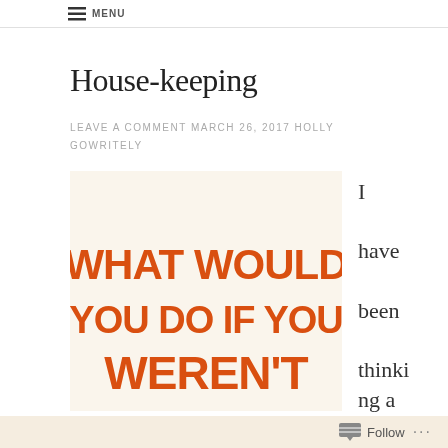MENU
House-keeping
LEAVE A COMMENT MARCH 26, 2017 HOLLY GOWRITELY
[Figure (illustration): Motivational poster with cream/beige background and bold orange text reading: WHAT WOULD YOU DO IF YOU WEREN'T]
I have been thinking a lot about t
Follow